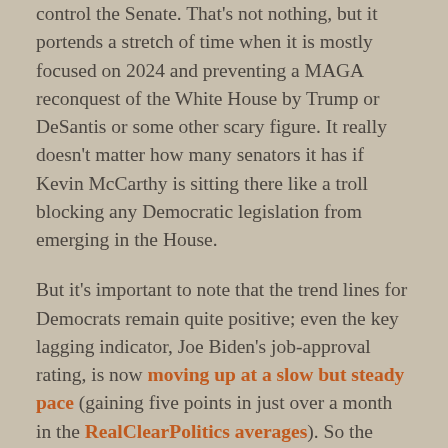control the Senate. That's not nothing, but it portends a stretch of time when it is mostly focused on 2024 and preventing a MAGA reconquest of the White House by Trump or DeSantis or some other scary figure. It really doesn't matter how many senators it has if Kevin McCarthy is sitting there like a troll blocking any Democratic legislation from emerging in the House.
But it's important to note that the trend lines for Democrats remain quite positive; even the key lagging indicator, Joe Biden's job-approval rating, is now moving up at a slow but steady pace (gaining five points in just over a month in the RealClearPolitics averages). So the question needs to be asked: What if Democrats pulled off the shocker and won the House as well?
Jamelle Bouie let himself think about that in his New York Times column and imagined some exciting possibilities: